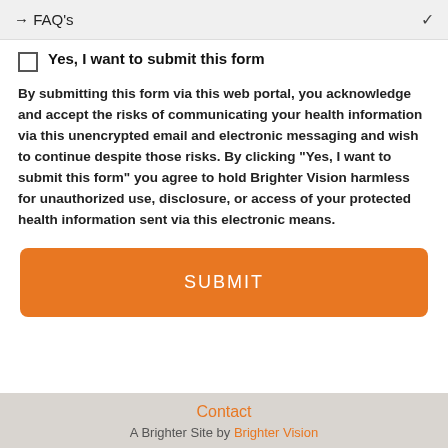→ FAQ's
Yes, I want to submit this form
By submitting this form via this web portal, you acknowledge and accept the risks of communicating your health information via this unencrypted email and electronic messaging and wish to continue despite those risks. By clicking "Yes, I want to submit this form" you agree to hold Brighter Vision harmless for unauthorized use, disclosure, or access of your protected health information sent via this electronic means.
SUBMIT
Contact
A Brighter Site by Brighter Vision